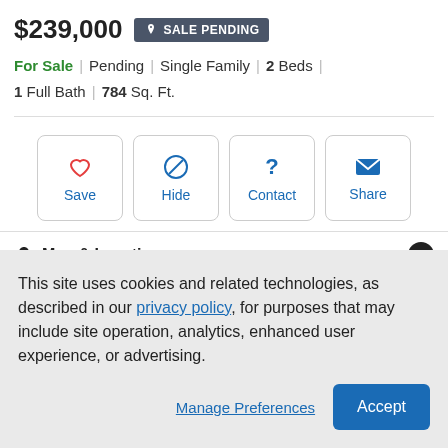$239,000 SALE PENDING
For Sale | Pending | Single Family | 2 Beds | 1 Full Bath | 784 Sq. Ft.
[Figure (other): Four action buttons: Save (heart icon), Hide (no icon), Contact (question mark), Share (envelope icon)]
Map & Location
Property Description
This site uses cookies and related technologies, as described in our privacy policy, for purposes that may include site operation, analytics, enhanced user experience, or advertising.
Manage Preferences  Accept